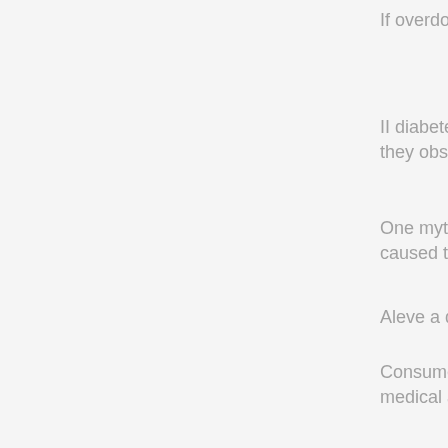If overdose is suspected, contact a poison c
II diabetes, although the authors could mak they observed are associated with decrease
One myth already debunked by the research caused the epidemic of human immunodefi
Aleve a day for a length of time, like a few w
Consumer Health Digest is for informationa medical advice, diagnosis or treatment reco
drugs aleve bars
buy blue pill on line
caffeine withdrawal aleve